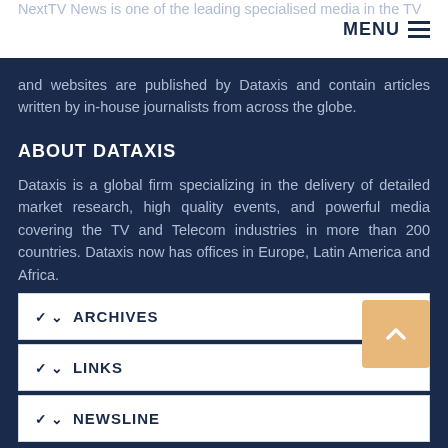MENU
NextTV News is one of the leading specialised media in the TV and websites are published by Dataxis and contain articles written by in-house journalists from across the globe.
ABOUT DATAXIS
Dataxis is a global firm specializing in the delivery of detailed market research, high quality events, and powerful media covering the TV and Telecom industries in more than 200 countries. Dataxis now has offices in Europe, Latin America and Africa.
www.dataxis.com
ARCHIVES
LINKS
NEWSLINE